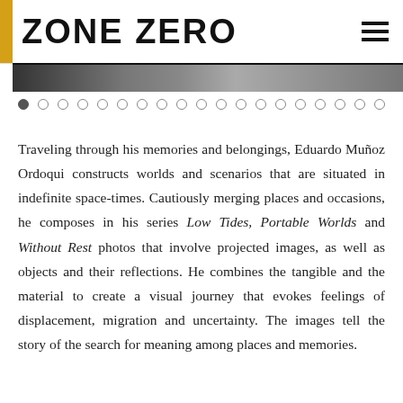ZONE ZERO
[Figure (photo): Partial image strip visible at top of content area, dark/grayscale photograph]
[Figure (other): Carousel navigation dots, 19 circles, first one filled/active]
Traveling through his memories and belongings, Eduardo Muñoz Ordoqui constructs worlds and scenarios that are situated in indefinite space-times. Cautiously merging places and occasions, he composes in his series Low Tides, Portable Worlds and Without Rest photos that involve projected images, as well as objects and their reflections. He combines the tangible and the material to create a visual journey that evokes feelings of displacement, migration and uncertainty. The images tell the story of the search for meaning among places and memories.